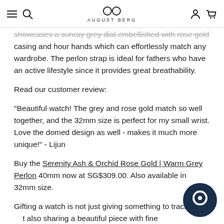AUGUST BERG
showcases a sunray grey dial embellished with rose gold casing and hour hands which can effortlessly match any wardrobe. The perlon strap is ideal for fathers who have an active lifestyle since it provides great breathability.
Read our customer review:
“Beautiful watch! The grey and rose gold match so well together, and the 32mm size is perfect for my small wrist. Love the domed design as well - makes it much more unique!” - Lijun
Buy the Serenity Ash & Orchid Rose Gold | Warm Grey Perlon 40mm now at SG$309.00. Also available in 32mm size.
Gifting a watch is not just giving something to track t... also sharing a beautiful piece with fine craftsmanshi... timepieces in the list are functional and timeless gifts you can give to your father. If you are still looking for more inspiration